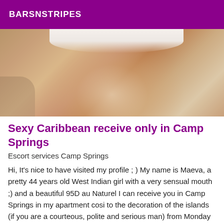BARSNSTRIPES
[Figure (photo): Close-up photo of a person wearing white underwear, showing their lower body from behind.]
Sexy Caribbean receive only in Camp Springs
Escort services Camp Springs
Hi, It's nice to have visited my profile ; ) My name is Maeva, a pretty 44 years old West Indian girl with a very sensual mouth ;) and a beautiful 95D au Naturel I can receive you in Camp Springs in my apartment cosi to the decoration of the islands (if you are a courteous, polite and serious man) from Monday to Friday from 12h to 16h, NEVER THE WEEK END (and all that according to